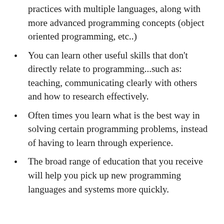practices with multiple languages, along with more advanced programming concepts (object oriented programming, etc..)
You can learn other useful skills that don't directly relate to programming...such as: teaching, communicating clearly with others and how to research effectively.
Often times you learn what is the best way in solving certain programming problems, instead of having to learn through experience.
The broad range of education that you receive will help you pick up new programming languages and systems more quickly.